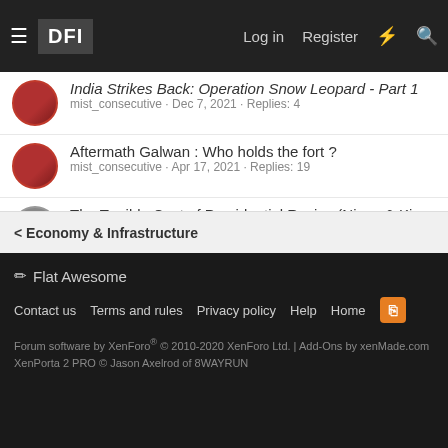DFI | Log in | Register
India Strikes Back: Operation Snow Leopard - Part 1 | mist_consecutive · Dec 7, 2021 · Replies: 4
Aftermath Galwan : Who holds the fort ? | mist_consecutive · Apr 17, 2021 · Replies: 19
The Terrible Cost of Presidential Racism(Nixon & Kissing... | ezsasa · Sep 4, 2020 · Replies: 37
Modern BVR Air Combat - Part 2 | mist_consecutive · Jul 19, 2020 · Replies: 21
Civil & Military Bureaucracy and related discussions | daya · Jun 14, 2020 · Replies: 32
< Economy & Infrastructure
✏ Flat Awesome | Contact us | Terms and rules | Privacy policy | Help | Home | Forum software by XenForo® © 2010-2020 XenForo Ltd. | Add-Ons by xenMade.com XenPorta 2 PRO © Jason Axelrod of 8WAYRUN